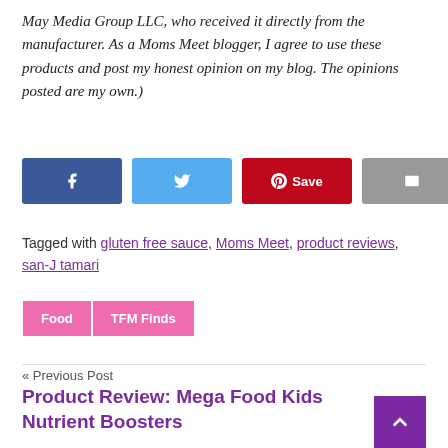May Media Group LLC, who received it directly from the manufacturer. As a Moms Meet blogger, I agree to use these products and post my honest opinion on my blog. The opinions posted are my own.)
[Figure (other): Social sharing buttons: Facebook (dark blue), Twitter (light blue), Pinterest Save (red), Email (gray)]
Tagged with gluten free sauce, Moms Meet, product reviews, san-J tamari
Food  TFM Finds
« Previous Post
Product Review: Mega Food Kids Nutrient Boosters